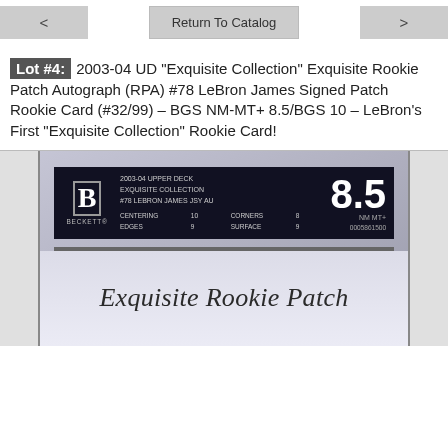< | Return To Catalog | >
Lot #4: 2003-04 UD "Exquisite Collection" Exquisite Rookie Patch Autograph (RPA) #78 LeBron James Signed Patch Rookie Card (#32/99) – BGS NM-MT+ 8.5/BGS 10 – LeBron's First "Exquisite Collection" Rookie Card!
[Figure (photo): BGS graded slab showing 2003-04 Upper Deck Exquisite Collection #78 LeBron James JSY AU card, graded 8.5 NM-MT+, with sub-grades Centering 10, Corners 8, Edges 9, Surface 9, serial number 0005861500. Bottom portion shows 'Exquisite Rookie Patch' script text.]